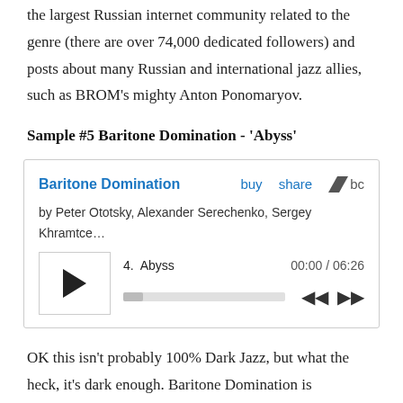the largest Russian internet community related to the genre (there are over 74,000 dedicated followers) and posts about many Russian and international jazz allies, such as BROM's mighty Anton Ponomaryov.
Sample #5 Baritone Domination - 'Abyss'
[Figure (screenshot): Bandcamp audio player widget for 'Baritone Domination' showing track 4 'Abyss' with play button, progress bar, time 00:00 / 06:26, and navigation controls.]
OK this isn't probably 100% Dark Jazz, but what the heck, it's dark enough. Baritone Domination is Alexander Serechenko and prolific Glintshake/ Inturist horn man, Sergey Khramtsevich (baritone saxophones) and Peter Ototsky (drums). Apart from being dronetastic in itself it's here because it's a good example of the